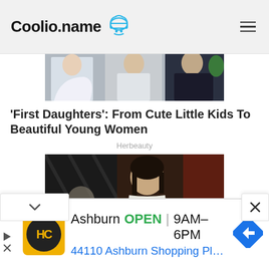Coolio.name
[Figure (photo): Three women standing together outdoors, one in white dress, one in plaid shirt, one in black strapless top]
'First Daughters': From Cute Little Kids To Beautiful Young Women
Herbeauty
[Figure (photo): Young Asian woman in a dimly lit restaurant setting]
Ashburn OPEN | 9AM–6PM 44110 Ashburn Shopping Plaza 1.